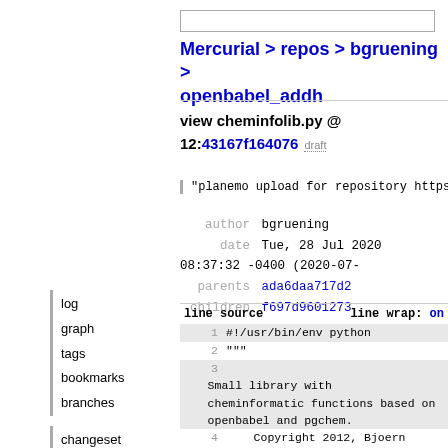Mercurial > repos > bgruening > openbabel_addh
view cheminfolib.py @ 12:43167f164076  draft
"planemo upload for repository https://git
author bgruening
date Tue, 28 Jul 2020 08:37:32 -0400 (2020-07-
parents ada6daa717d2
children f697d9601273
| line source | line wrap: on |
| --- | --- |
| 1 | #!/usr/bin/env python |
| 2 | """ |
| 3 |     Small library with
cheminformatic functions based on
openbabel and pgchem. |
| 4 |     Copyright 2012, Bjoern
Gruening and Xavier Lucas |
| 5 | """ |
| 6 |  |
log
graph
tags
bookmarks
branches
changeset
browse
file
latest
diff
comparison
annotate
file log
raw